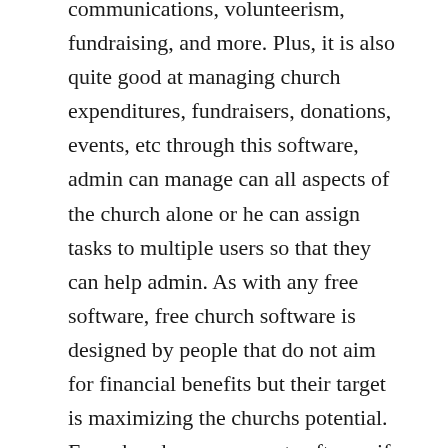communications, volunteerism, fundraising, and more. Plus, it is also quite good at managing church expenditures, fundraisers, donations, events, etc through this software, admin can manage can all aspects of the church alone or he can assign tasks to multiple users so that they can help admin. As with any free software, free church software is designed by people that do not aim for financial benefits but their target is maximizing the churchs potential. Free church management software if you are looking for free online church management software,